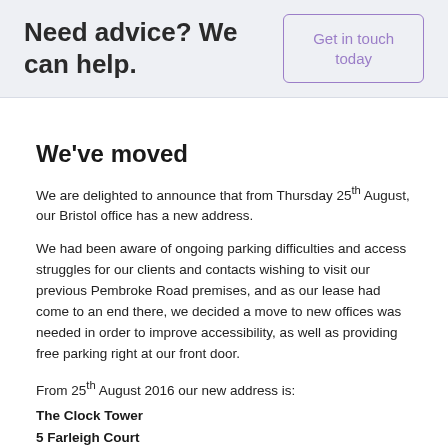Need advice? We can help.
Get in touch today
We've moved
We are delighted to announce that from Thursday 25th August, our Bristol office has a new address.
We had been aware of ongoing parking difficulties and access struggles for our clients and contacts wishing to visit our previous Pembroke Road premises, and as our lease had come to an end there, we decided a move to new offices was needed in order to improve accessibility, as well as providing free parking right at our front door.
From 25th August 2016 our new address is:
The Clock Tower
5 Farleigh Court
Old Weston Road